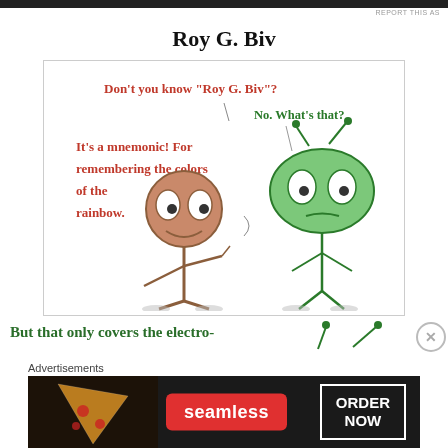REPORT THIS AS
Roy G. Biv
[Figure (illustration): Comic strip showing two stick-figure characters: a brown stick figure on the left with a round face, and a green alien-like stick figure on the right with antennae. The brown figure says in red handwritten text: "Don't you know "Roy G. Biv"? It's a mnemonic! For remembering the colors of the rainbow." The green figure replies in green handwritten text: "No. What's that?"]
But that only covers the electro-
Advertisements
[Figure (other): Seamless food delivery advertisement showing pizza on the left, seamless logo in red button center, and ORDER NOW button on right, all on dark background.]